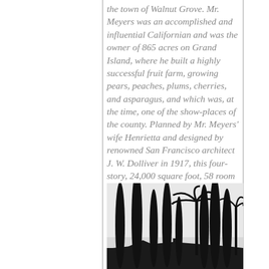the town of Walnut Grove. Mr. Meyers was an accomplished and influential Californian and was the owner of 865 acres on Grand Island, where he built a highly successful fruit farm, growing pears, peaches, plums, cherries, and asparagus, and which was, at the time, one of the show-places of the county. Planned by Mr. Meyers' wife Henrietta and designed by renowned San Francisco architect J. W. Dolliver in 1917, this four-story, 24,000 square foot, 58 room villa was the centerpiece of Louis W. Meyers' personal empire. Construction of the Mansion was completed in 1920. The Mansion served originally not only as the Meyers' family home, but as a favorite haunt for many a celebrity of the 1920s and 30s.
[Figure (photo): Black and white photo showing silhouettes of tall cypress trees, palm trees, and a low building (mansion) in the background against a light sky.]